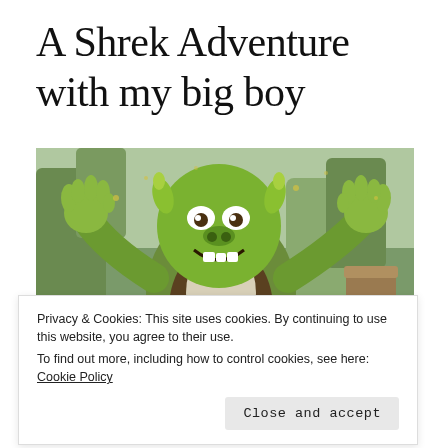A Shrek Adventure with my big boy
[Figure (photo): A large Shrek character statue/cutout with arms outstretched and a big grin, with a forest swamp background. In the lower right corner, a woman and a young child are visible posing for the photo.]
Privacy & Cookies: This site uses cookies. By continuing to use this website, you agree to their use.
To find out more, including how to control cookies, see here: Cookie Policy
treat to go to London with just one child who doesn't